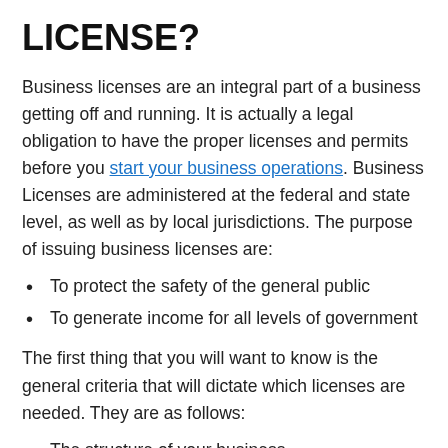LICENSE?
Business licenses are an integral part of a business getting off and running. It is actually a legal obligation to have the proper licenses and permits before you start your business operations. Business Licenses are administered at the federal and state level, as well as by local jurisdictions. The purpose of issuing business licenses are:
To protect the safety of the general public
To generate income for all levels of government
The first thing that you will want to know is the general criteria that will dictate which licenses are needed. They are as follows:
The structure of your business